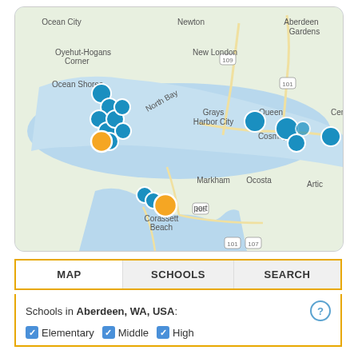[Figure (map): Map showing the Grays Harbor area in Washington State, USA, including locations like Ocean City, Newton, Aberdeen Gardens, Oyehut-Hogans Corner, New London, Ocean Shores, North Bay, Grays Harbor City, Queen, Central Park, Cosmopolis, Markham, Ocosta, Port Coassett Beach, and Artic. Blue and orange map marker pins indicate school locations.]
| MAP | SCHOOLS | SEARCH |
| --- | --- | --- |
Schools in Aberdeen, WA, USA:
✓ Elementary  ✓ Middle  ✓ High